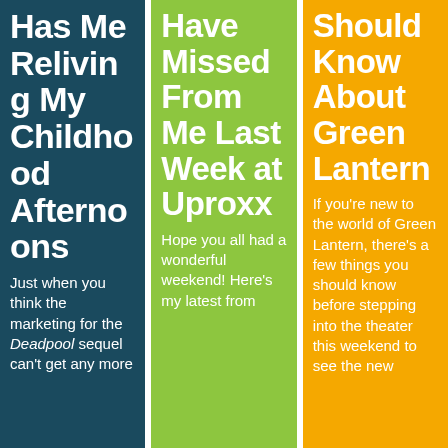Has Me Reliving My Childhood Afternoons
Just when you think the marketing for the Deadpool sequel can't get any more
Might Have Missed From Me Last Week at Uproxx
Hope you all had a wonderful weekend! Here's my latest from
Should Know About Green Lantern
If you're new to the world of Green Lantern, there's a few things you should know before stepping into the theater this weekend to see the new